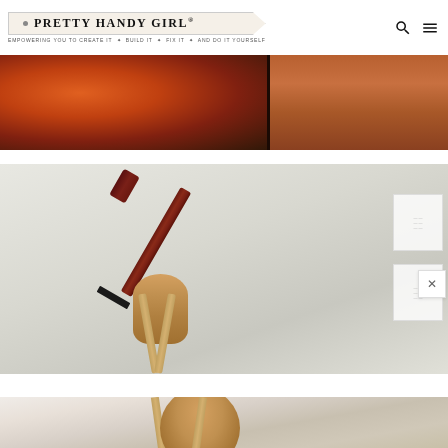Pretty Handy Girl® — EMPOWERING YOU TO CREATE IT ✦ BUILD IT ✦ FIX IT ✦ AND DO IT YOURSELF
[Figure (photo): Close-up of a reddish-brown wooden instrument surface, likely a violin or guitar body with dark binding, showing wood grain and finish detail.]
[Figure (photo): A stringed instrument (guitar or similar) on a wooden stand, leaning against a light grey wall in a room. The neck and headstock with tuning pegs are visible at upper left. A black nut/crosspiece is visible on the neck. A white guitar stand cradles the body at the bottom. Small framed papers or notes are visible on the wall to the right.]
[Figure (photo): Partial bottom of the third photo showing the lower portion of the instrument on its stand, with room flooring visible.]